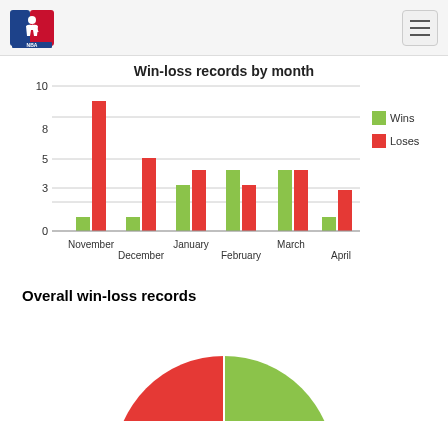NBA logo and navigation
[Figure (grouped-bar-chart): Win-loss records by month]
Overall win-loss records
[Figure (pie-chart): Overall win-loss records]